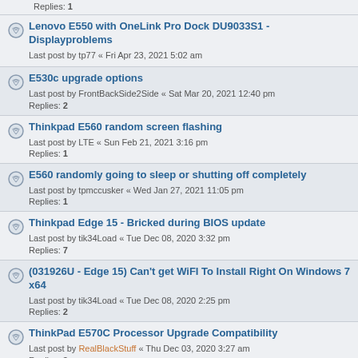Replies: 1
Lenovo E550 with OneLink Pro Dock DU9033S1 - Displayproblems
Last post by tp77 « Fri Apr 23, 2021 5:02 am
E530c upgrade options
Last post by FrontBackSide2Side « Sat Mar 20, 2021 12:40 pm
Replies: 2
Thinkpad E560 random screen flashing
Last post by LTE « Sun Feb 21, 2021 3:16 pm
Replies: 1
E560 randomly going to sleep or shutting off completely
Last post by tpmccusker « Wed Jan 27, 2021 11:05 pm
Replies: 1
Thinkpad Edge 15 - Bricked during BIOS update
Last post by tik34Load « Tue Dec 08, 2020 3:32 pm
Replies: 7
(031926U - Edge 15) Can't get WiFI To Install Right On Windows 7 x64
Last post by tik34Load « Tue Dec 08, 2020 2:25 pm
Replies: 2
ThinkPad E570C Processor Upgrade Compatibility
Last post by RealBlackStuff « Thu Dec 03, 2020 3:27 am
Replies: 3
TP E15 2nd Gen Ryzen 4700u thoughts ?
Last post by Droider « Thu Nov 26, 2020 2:01 pm
Replies: 2
Is this normal quality for a ThinkPad E series?
Last post by cadillacmike68 « Tue Nov 03, 2020 5:21 pm
Replies: 5
How can I get OpenGL 3.x suppoet for Edge 057922U?